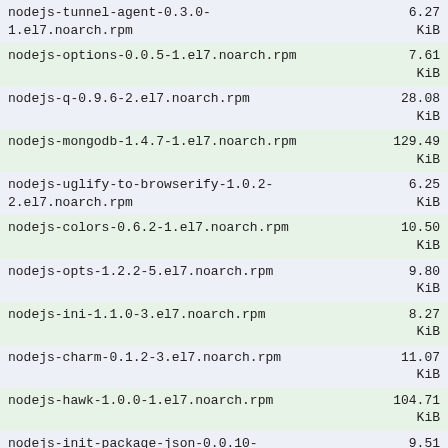| Package | Size |
| --- | --- |
| nodejs-tunnel-agent-0.3.0-1.el7.noarch.rpm | 6.27 KiB |
| nodejs-options-0.0.5-1.el7.noarch.rpm | 7.61 KiB |
| nodejs-q-0.9.6-2.el7.noarch.rpm | 28.08 KiB |
| nodejs-mongodb-1.4.7-1.el7.noarch.rpm | 129.49 KiB |
| nodejs-uglify-to-browserify-1.0.2-2.el7.noarch.rpm | 6.25 KiB |
| nodejs-colors-0.6.2-1.el7.noarch.rpm | 10.50 KiB |
| nodejs-opts-1.2.2-5.el7.noarch.rpm | 9.80 KiB |
| nodejs-ini-1.1.0-3.el7.noarch.rpm | 8.27 KiB |
| nodejs-charm-0.1.2-3.el7.noarch.rpm | 11.07 KiB |
| nodejs-hawk-1.0.0-1.el7.noarch.rpm | 104.71 KiB |
| nodejs-init-package-json-0.0.10-1.el7.noarch.rpm | 9.51 KiB |
| nodejs-amdefine-0.0.4-1.el7.noarch.rpm | 10.28 KiB |
| nodejs-methods-0.1.0-1.el7.noarch.rpm | 5.86 KiB |